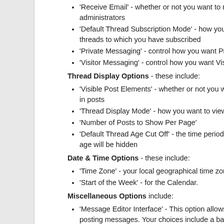'Receive Email' - whether or not you want to receive email from administrators
'Default Thread Subscription Mode' - how you want to be notified of threads to which you have subscribed
'Private Messaging' - control how you want Private Messaging to work
'Visitor Messaging' - control how you want Visitor Messaging to work
Thread Display Options - these include:
'Visible Post Elements' - whether or not you want to be able to see Avatars and Images in posts
'Thread Display Mode' - how you want to view threads by default (more info here)
'Number of Posts to Show Per Page'
'Default Thread Age Cut Off' - the time period for threads to show, threads older than this age will be hidden
Date & Time Options - these include:
'Time Zone' - your local geographical time zone offset from
'Start of the Week' - for the Calendar.
Miscellaneous Options include:
'Message Editor Interface' - This option allows you choose the type of editor to use when posting messages. Your choices include a basic text editor, an enhanced editor with clickable formatting controls, or a full WYSIWYG (what you see is what you get) editor that will show your formatting as you type.
'Forum Style' - only available if there is more than one style